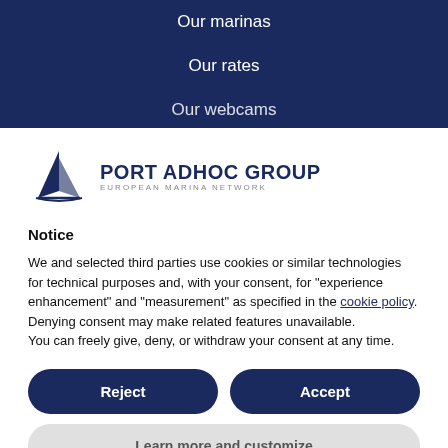Our marinas
Our rates
Our webcams
[Figure (logo): Port Adhoc Group logo with sailboat icon and text 'PORT ADHOC GROUP' and 'EUROPEAN MARINA NETWORK']
Notice
We and selected third parties use cookies or similar technologies for technical purposes and, with your consent, for "experience enhancement" and "measurement" as specified in the cookie policy. Denying consent may make related features unavailable.
You can freely give, deny, or withdraw your consent at any time.
Reject
Accept
Learn more and customize